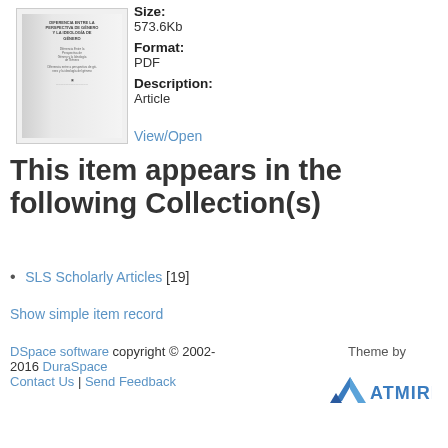[Figure (photo): Thumbnail image of a document cover page with Spanish text about gender perspectives]
Size: 573.6Kb
Format: PDF
Description: Article
View/Open
This item appears in the following Collection(s)
SLS Scholarly Articles [19]
Show simple item record
DSpace software copyright © 2002-2016  DuraSpace  Contact Us | Send Feedback  Theme by ATMIRE